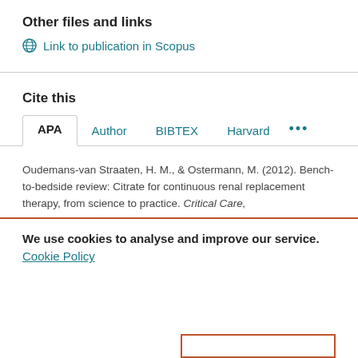Other files and links
Link to publication in Scopus
Cite this
APA  Author  BIBTEX  Harvard  ...
Oudemans-van Straaten, H. M., & Ostermann, M. (2012). Bench-to-bedside review: Citrate for continuous renal replacement therapy, from science to practice. Critical Care,
We use cookies to analyse and improve our service. Cookie Policy